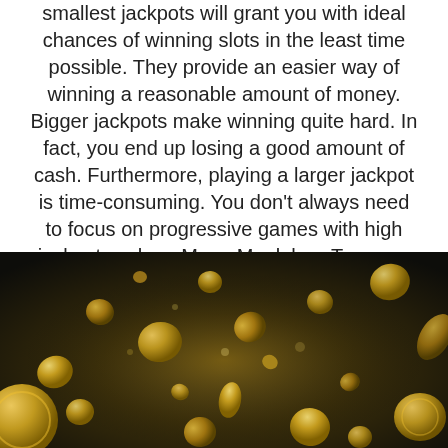smallest jackpots will grant you with ideal chances of winning slots in the least time possible. They provide an easier way of winning a reasonable amount of money. Bigger jackpots make winning quite hard. In fact, you end up losing a good amount of cash. Furthermore, playing a larger jackpot is time-consuming. You don't always need to focus on progressive games with high jackpot such as Mega Moolah or Treasure Nile. You could focus on other games; Party Time, Off the Hook or Fairy Ring.
[Figure (photo): A dark background photo showing golden coins flying and scattering through the air, with bokeh light effects, resembling a casino or jackpot theme.]